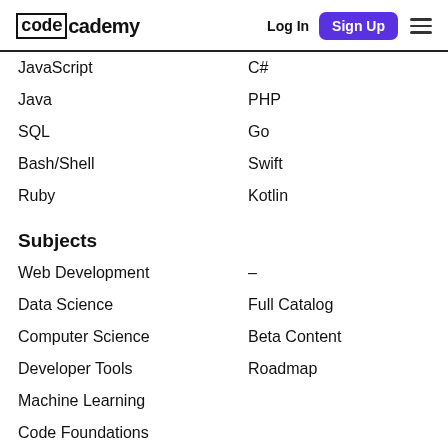Codecademy — Log In | Sign Up
JavaScript | C#
Java | PHP
SQL | Go
Bash/Shell | Swift
Ruby | Kotlin
Subjects
Web Development | —
Data Science | Full Catalog
Computer Science | Beta Content
Developer Tools | Roadmap
Machine Learning
Code Foundations